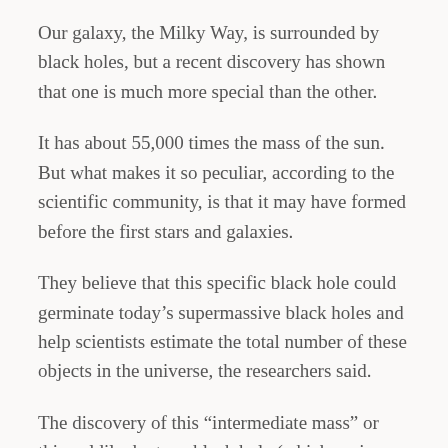Our galaxy, the Milky Way, is surrounded by black holes, but a recent discovery has shown that one is much more special than the other.
It has about 55,000 times the mass of the sun. But what makes it so peculiar, according to the scientific community, is that it may have formed before the first stars and galaxies.
They believe that this specific black hole could germinate today's supermassive black holes and help scientists estimate the total number of these objects in the universe, the researchers said.
The discovery of this “intermediate mass” or this goldilocks-type black hole (which, as in children’s history